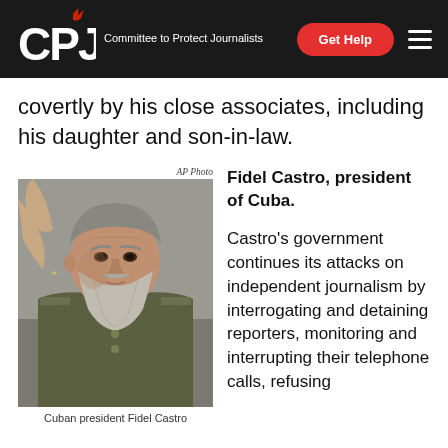CPJ — Committee to Protect Journalists | Get Help
covertly by his close associates, including his daughter and son-in-law.
[Figure (photo): Black and white photograph of Fidel Castro, Cuban president, wearing military fatigues and gesturing with his hand while speaking. Caption: AP Photo above image, 'Cuban president Fidel Castro' below.]
Fidel Castro, president of Cuba.
Castro's government continues its attacks on independent journalism by interrogating and detaining reporters, monitoring and interrupting their telephone calls, refusing